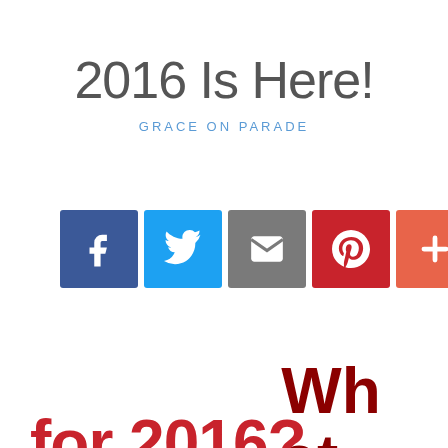2016 Is Here!
GRACE ON PARADE
[Figure (infographic): Five social media share buttons: Facebook (dark blue, f icon), Twitter (light blue, bird icon), Email (grey, envelope icon), Pinterest (red, P icon), Plus/More (coral/orange-red, + icon)]
What are your goal